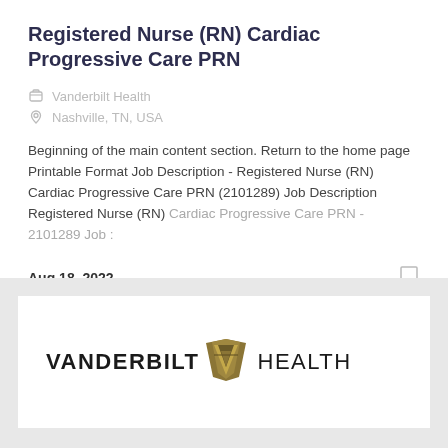Registered Nurse (RN) Cardiac Progressive Care PRN
Vanderbilt Health
Nashville, TN, USA
Beginning of the main content section. Return to the home page Printable Format Job Description - Registered Nurse (RN) Cardiac Progressive Care PRN (2101289) Job Description Registered Nurse (RN) Cardiac Progressive Care PRN - 2101289 Job :
Aug 18, 2022
[Figure (logo): Vanderbilt Health logo with stylized V emblem in gold/brown between the words VANDERBILT and HEALTH]